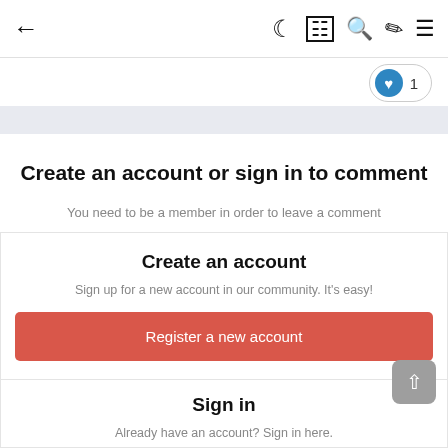← 🌙 ⊞ 🔍 ✏️ ≡
[Figure (other): Like/heart badge showing count of 1]
Create an account or sign in to comment
You need to be a member in order to leave a comment
Create an account
Sign up for a new account in our community. It's easy!
Register a new account
Sign in
Already have an account? Sign in here.